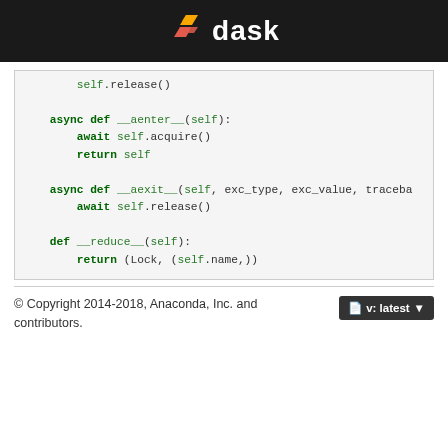dask
[Figure (screenshot): Python code block showing async methods: self.release(), __aenter__, __aexit__, __reduce__]
© Copyright 2014-2018, Anaconda, Inc. and contributors.